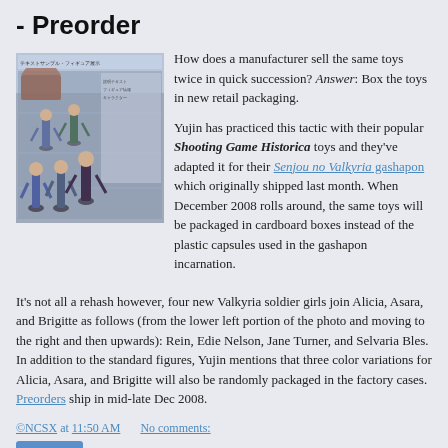- Preorder
[Figure (photo): Photo showing multiple Senjou no Valkyria gashapon figures/characters posed in action stances with Japanese text at top]
How does a manufacturer sell the same toys twice in quick succession? Answer: Box the toys in new retail packaging.
Yujin has practiced this tactic with their popular Shooting Game Historica toys and they've adapted it for their Senjou no Valkyria gashapon which originally shipped last month. When December 2008 rolls around, the same toys will be packaged in cardboard boxes instead of the plastic capsules used in the gashapon incarnation.
It's not all a rehash however, four new Valkyria soldier girls join Alicia, Asara, and Brigitte as follows (from the lower left portion of the photo and moving to the right and then upwards): Rein, Edie Nelson, Jane Turner, and Selvaria Bles. In addition to the standard figures, Yujin mentions that three color variations for Alicia, Asara, and Brigitte will also be randomly packaged in the factory cases. Preorders ship in mid-late Dec 2008.
©NCSX at 11:50 AM    No comments:
Share